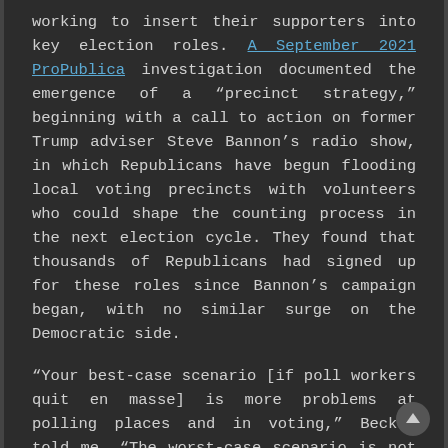working to insert their supporters into key election roles. A September 2021 ProPublica investigation documented the emergence of a "precinct strategy," beginning with a call to action on former Trump adviser Steve Bannon's radio show, in which Republicans have begun flooding local voting precincts with volunteers who could shape the counting process in the next election cycle. They found that thousands of Republicans had signed up for these roles since Bannon's campaign began, with no similar surge on the Democratic side.
"Your best-case scenario [if poll workers quit en masse] is more problems at polling places and in voting," Becker told me. "The worst-case scenario is not just if we lose it, but what happens when that experience gets replaced by hackery … more people who believe that their job is to deliver their election to the candidate that they want to see win."